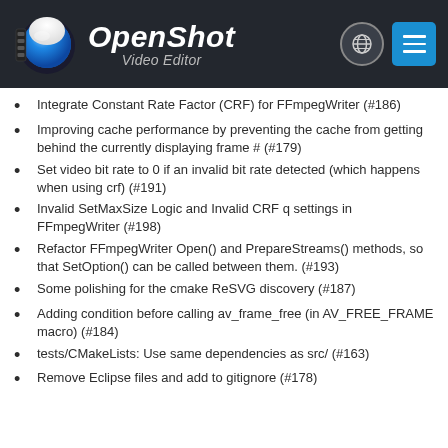OpenShot Video Editor
Integrate Constant Rate Factor (CRF) for FFmpegWriter (#186)
Improving cache performance by preventing the cache from getting behind the currently displaying frame # (#179)
Set video bit rate to 0 if an invalid bit rate detected (which happens when using crf) (#191)
Invalid SetMaxSize Logic and Invalid CRF q settings in FFmpegWriter (#198)
Refactor FFmpegWriter Open() and PrepareStreams() methods, so that SetOption() can be called between them. (#193)
Some polishing for the cmake ReSVG discovery (#187)
Adding condition before calling av_frame_free (in AV_FREE_FRAME macro) (#184)
tests/CMakeLists: Use same dependencies as src/ (#163)
Remove Eclipse files and add to gitignore (#178)